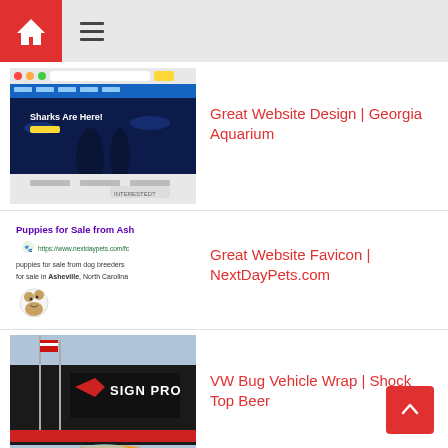Home / Menu navigation bar
[Figure (screenshot): Georgia Aquarium website screenshot showing 'Sharks Are Here!' hero image with dark underwater theme]
Great Website Design | Georgia Aquarium
[Figure (screenshot): Google search result for NextDayPets.com showing 'Puppies for Sale from Ash' with favicon and URL https://www.nextdaypets.com/fc]
Great Website Favicon | NextDayPets.com
[Figure (photo): Sign Pro store exterior with large sign and orange VW Bug vehicle wrap visible at bottom]
VW Bug Vehicle Wrap | Shock Top Beer
[Figure (screenshot): Washington Post article headline: KFC pauses use of 'Finger Lickin' Good' in advertising, showing Colonel Sanders cartoon cutouts]
Social Distancing Tool | KFC Col. Sanders Cutouts